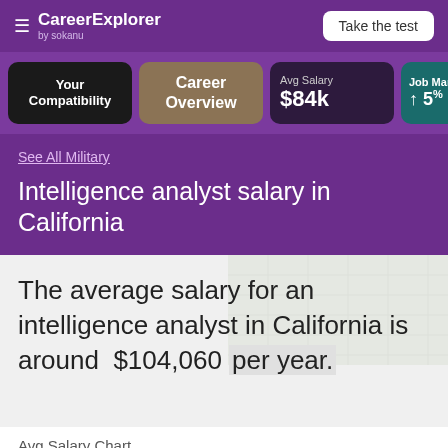CareerExplorer by sokanu | Take the test
Your Compatibility | Career Overview | Avg Salary $84k | Job Market ↑ 5%
See All Military
Intelligence analyst salary in California
The average salary for an intelligence analyst in California is around $104,060 per year.
Avg Salary Chart